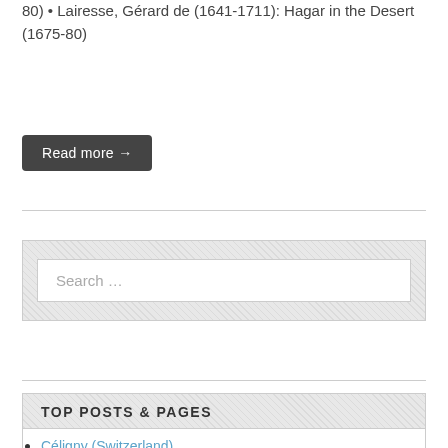80) • Lairesse, Gérard de (1641-1711): Hagar in the Desert (1675-80)
Read more →
Search …
TOP POSTS & PAGES
Céligny (Switzerland)
Jeanne Duval
David (1501-1504)